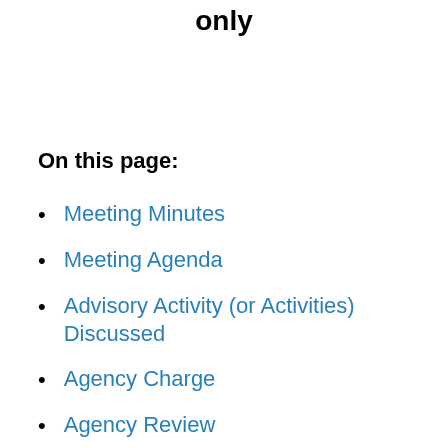only
On this page:
Meeting Minutes
Meeting Agenda
Advisory Activity (or Activities) Discussed
Agency Charge
Agency Review